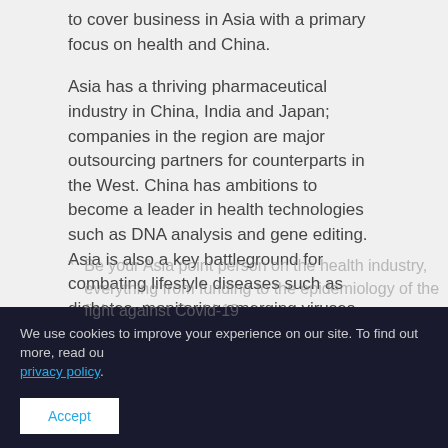to cover business in Asia with a primary focus on health and China.
Asia has a thriving pharmaceutical industry in China, India and Japan; companies in the region are major outsourcing partners for counterparts in the West. China has ambitions to become a leader in health technologies such as DNA analysis and gene editing. Asia is also a key battleground for combating lifestyle diseases such as diabetes, monitoring emerging viruses and tackling the health challenges of aging populations. The region continues to confront the Covid-19 pandemic, including with Zero-Covid policies that have disrupted economies and sparked backlashes even as they have in some cases kept case counts relatively low.
You will:
Dive deeply into China's fast-evolving health landscape, its technological advances, and its weaknesses, and the domestic
Be your Asia point person on the health industry, everything from funding to the epidemiology of the fight against Covid-19
Range across this multibillion-dollar regional industry, diverthing